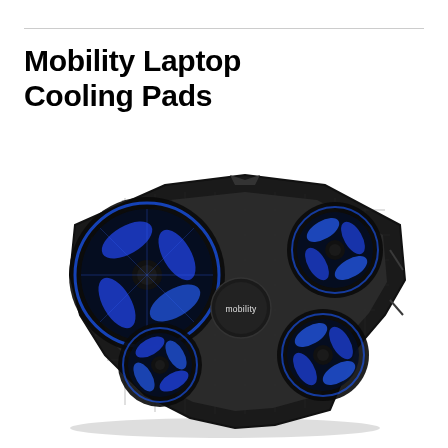Mobility Laptop Cooling Pads
[Figure (photo): A black laptop cooling pad with four blue LED fans arranged in a cross pattern, featuring a central 'mobility' branded hub, mesh surface, and angular gaming-style design, photographed at an angle.]